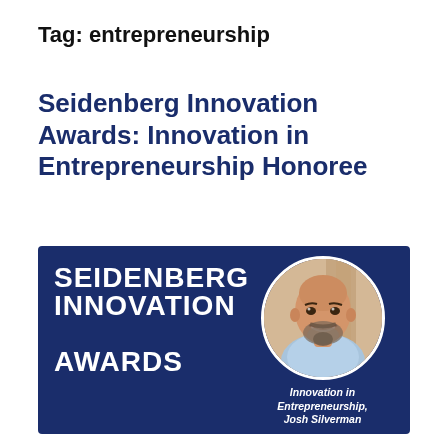Tag: entrepreneurship
Seidenberg Innovation Awards: Innovation in Entrepreneurship Honoree
[Figure (photo): Seidenberg Innovation Awards banner with dark navy blue background. Left side shows bold white uppercase text: SEIDENBERG INNOVATION AWARDS. Right side shows a circular portrait photo of Josh Silverman, a bald man with a beard wearing a light blue shirt, smiling. Below the photo, italic white text reads: Innovation in Entrepreneurship, Josh Silverman.]